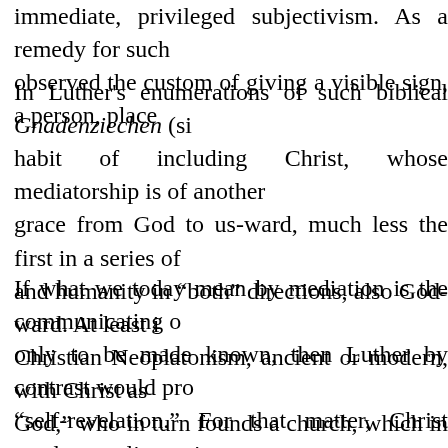immediate, privileged subjectivism. As a remedy for such observed the custom of giving a visible sign, a person, place
In Luther's enumerations of such biblical Gnadenziechen (si habit of including Christ, whose mediatorship is of another grace from God to us-ward, much less the first in a series of and humanity in "both" directions, also God-ward. At least i Christian Neoplatonism, ancient or modern, with Christ as God," who in turn founds a church, which in turn institutes s to our nether level. That much the "intermediary" Moses mig mediator—with disastrous results.3
If what we today mean by mediation is the communicating o only to be made known, then Luther by contrast would pro "self-revelation." For that matter, Christ needs revealing qui word. But first of all there must be a divine love worth revea God's love as just. True, Luther does say that in Christ is t stand it."4 And true, such Luther quotations have been invo